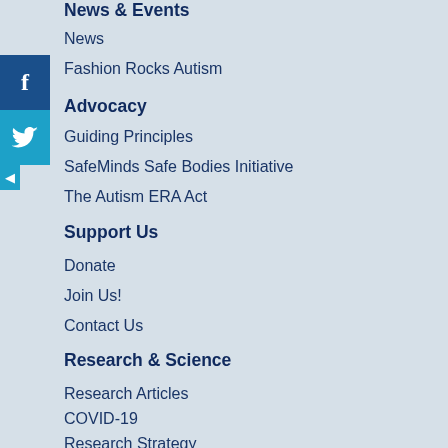News & Events
News
Fashion Rocks Autism
Advocacy
Guiding Principles
SafeMinds Safe Bodies Initiative
The Autism ERA Act
Support Us
Donate
Join Us!
Contact Us
Research & Science
Research Articles
COVID-19
Research Strategy
Autism Health Policy Forums
SafeMinds Funded Research